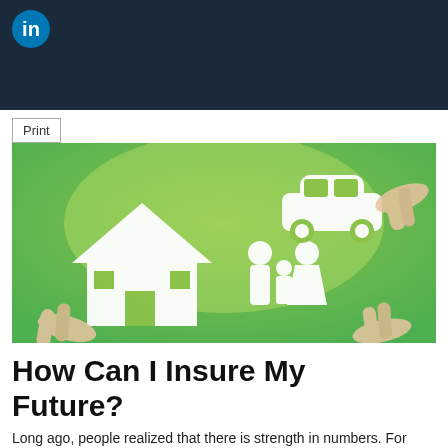LinkedIn header bar
[Figure (logo): LinkedIn logo icon — white 'in' on blue circle background]
Print
[Figure (photo): Photo of hands holding white paper cutouts of a car, a house, and a family (man, woman, child) against a green blurred background, representing insurance coverage.]
How Can I Insure My Future?
Long ago, people realized that there is strength in numbers. For hundreds of years, we have been joining